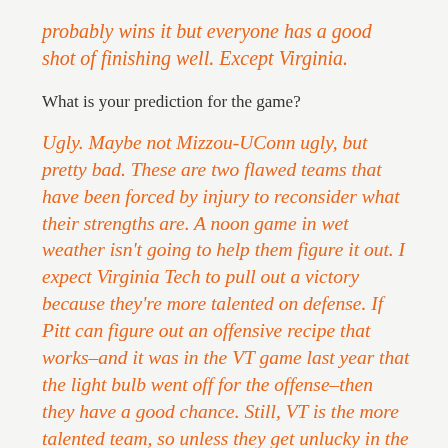probably wins it but everyone has a good shot of finishing well. Except Virginia.
What is your prediction for the game?
Ugly. Maybe not Mizzou-UConn ugly, but pretty bad. These are two flawed teams that have been forced by injury to reconsider what their strengths are. A noon game in wet weather isn't going to help them figure it out. I expect Virginia Tech to pull out a victory because they're more talented on defense. If Pitt can figure out an offensive recipe that works–and it was in the VT game last year that the light bulb went off for the offense–then they have a good chance. Still, VT is the more talented team, so unless they get unlucky in the